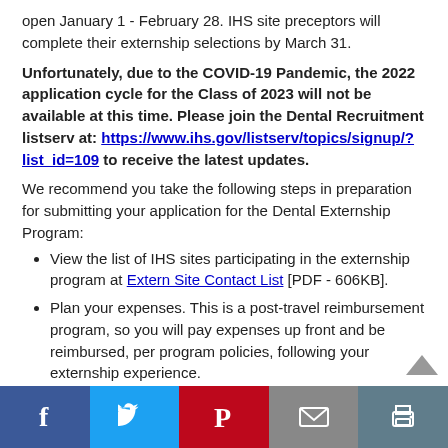open January 1 - February 28. IHS site preceptors will complete their externship selections by March 31.
Unfortunately, due to the COVID-19 Pandemic, the 2022 application cycle for the Class of 2023 will not be available at this time. Please join the Dental Recruitment listserv at: https://www.ihs.gov/listserv/topics/signup/?list_id=109 to receive the latest updates.
We recommend you take the following steps in preparation for submitting your application for the Dental Externship Program:
View the list of IHS sites participating in the externship program at Extern Site Contact List [PDF - 606KB].
Plan your expenses. This is a post-travel reimbursement program, so you will pay expenses up front and be reimbursed, per program policies, following your externship experience.
Read the Dental Externship Program Quick Reference Guide (QRG) [PDF - 720KB] for information on program policies and travel and reimbursement procedures.
Social share bar: Facebook, Twitter, Pinterest, Email, Print